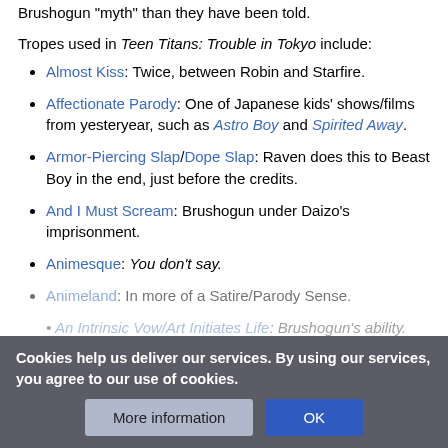Brushogun "myth" than they have been told.
Tropes used in Teen Titans: Trouble in Tokyo include:
Almost Kiss: Twice, between Robin and Starfire.
Affectionate Parody: One of Japanese kids' shows/films from yesteryear, such as Astro Boy and Spirited Away.
Armor-Piercing Slap/Dope Slap: Raven does this to Beast Boy in the end, just before the credits.
And I Must Scream: Brushogun under Daizo's imprisonment.
Animesque: You don't say.
Animeland: In more of a Satire/Parody Sense.
An Intrinsic Vow/Art Initiates Life: Brushogun's ability.
Attack of the 50-Foot Whatever: The team faces this twice: once u... s the
Cookies help us deliver our services. By using our services, you agree to our use of cookies.
More information | OK